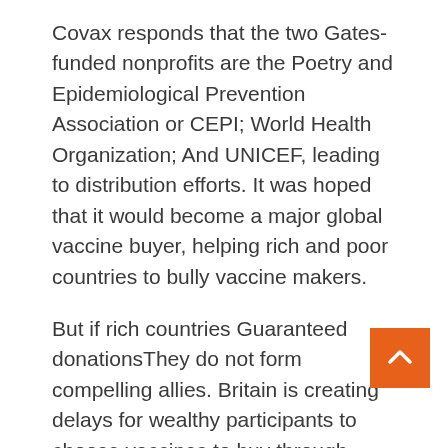Covax responds that the two Gates-funded nonprofits are the Poetry and Epidemiological Prevention Association or CEPI; World Health Organization; And UNICEF, leading to distribution efforts. It was hoped that it would become a major global vaccine buyer, helping rich and poor countries to bully vaccine makers.
But if rich countries Guaranteed donationsThey do not form compelling allies. Britain is creating delays for wealthy participants to choose vaccines to buy through Kovacs, said Kate Elder, senior vaccination policy consultant for the Doctor Without Borders access campaign.
The most important, rich countries Became competitors in the vaccine purchase competition, Pays premiums to protect their own shots while passing along…